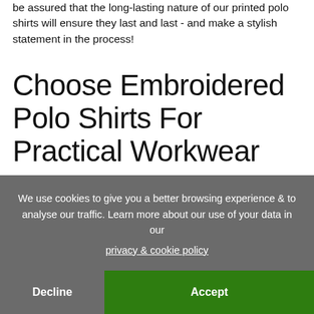be assured that the long-lasting nature of our printed polo shirts will ensure they last and last - and make a stylish statement in the process!
Choose Embroidered Polo Shirts For Practical Workwear
It's clear to see why polo shirts branded with logos are so popular: after all, they can offer your business a long-lasting, high-perceived value corporate clothing solution that can work perfectly for workplaces ranging from restaurants to
We use cookies to give you a better browsing experience & to analyse our traffic. Learn more about our use of your data in our privacy & cookie policy
Decline
Accept